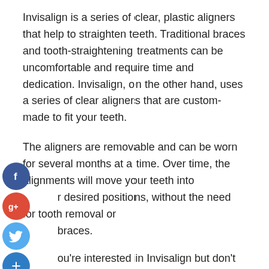Invisalign is a series of clear, plastic aligners that help to straighten teeth. Traditional braces and tooth-straightening treatments can be uncomfortable and require time and dedication. Invisalign, on the other hand, uses a series of clear aligners that are custom-made to fit your teeth.
The aligners are removable and can be worn for several months at a time. Over time, the alignments will move your teeth into your desired positions, without the need for tooth removal or braces.
If you're interested in Invisalign but don't want to commit to traditional braces or surgery, Invisalign may be the perfect option for you. Before you make a decision, though, be sure to talk with your dentist about your options. You may also want to consider Invisalign if you have crooked teeth or if you experience pain when chewing.